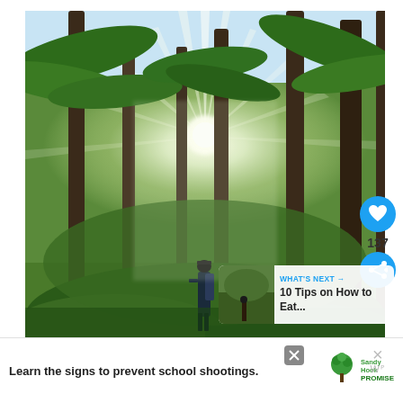[Figure (photo): A person standing in a tropical palm forest with dramatic sun rays breaking through the tall coconut palm trees, illuminating the green forest floor. The person is wearing a backpack and looking up toward the sunlight.]
[Figure (infographic): UI overlay on the photo: a blue circular heart/like button, the number 137, and a blue circular share button with a share icon.]
[Figure (infographic): WHAT'S NEXT panel with thumbnail image and text: '10 Tips on How to Eat...']
Learn the signs to prevent school shootings.
[Figure (logo): Sandy Hook Promise logo - green tree icon with text 'SandyHook PROMISE']